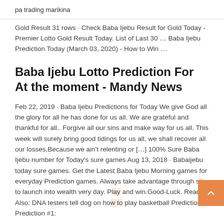pa trading marikina
Gold Result 31 rows · Check Baba Ijebu Result for Gold Today - Premier Lotto Gold Result Today. List of Last 30 … Baba Ijebu Prediction Today (March 03, 2020) - How to Win …
Baba Ijebu Lotto Prediction For At the moment - Mandy News
Feb 22, 2019 · Baba Ijebu Predictions for Today We give God all the glory for all he has done for us all. We are grateful and thankful for all.. Forgive all our sins and make way for us all. This week will surely bring good tidings for us all, we shall recover all our losses,Because we ain't relenting or […] 100% Sure Baba Ijebu number for Today's sure games Aug 13, 2018 · Babaijebu today sure games. Get the Latest Baba Ijebu Morning games for everyday Prediction games. Always take advantage through site to launch into wealth very day. Play and win.Good-Luck. Read Also: DNA testers tell dog on how to play basketball Predictions Prediction #1: